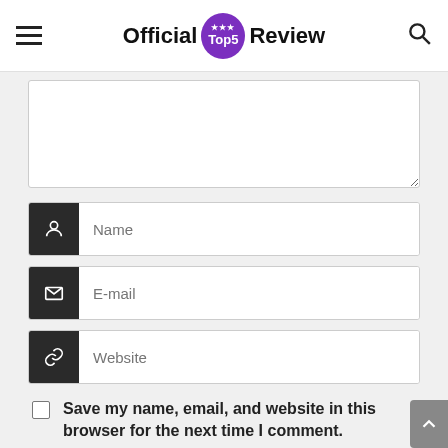Official Top5 Review
[Figure (screenshot): Comment form with textarea, Name, E-mail, Website input fields, a save checkbox, and Submit button on a review website]
Save my name, email, and website in this browser for the next time I comment.